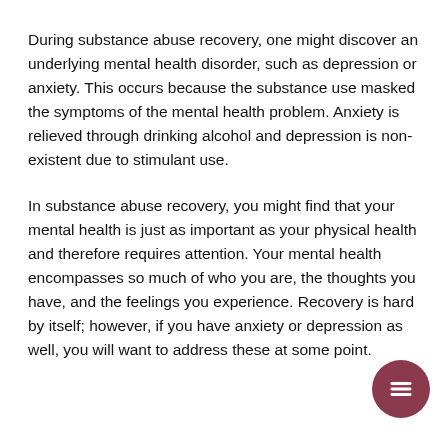During substance abuse recovery, one might discover an underlying mental health disorder, such as depression or anxiety. This occurs because the substance use masked the symptoms of the mental health problem. Anxiety is relieved through drinking alcohol and depression is non-existent due to stimulant use.
In substance abuse recovery, you might find that your mental health is just as important as your physical health and therefore requires attention. Your mental health encompasses so much of who you are, the thoughts you have, and the feelings you experience. Recovery is hard by itself; however, if you have anxiety or depression as well, you will want to address these at some point.